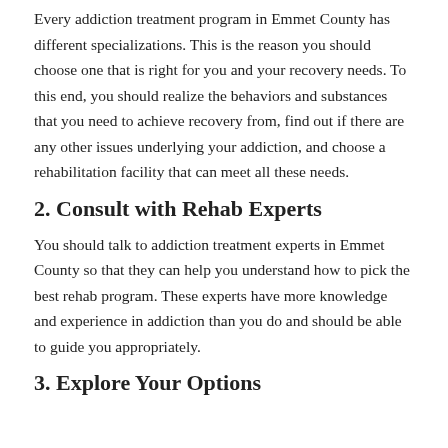Every addiction treatment program in Emmet County has different specializations. This is the reason you should choose one that is right for you and your recovery needs. To this end, you should realize the behaviors and substances that you need to achieve recovery from, find out if there are any other issues underlying your addiction, and choose a rehabilitation facility that can meet all these needs.
2. Consult with Rehab Experts
You should talk to addiction treatment experts in Emmet County so that they can help you understand how to pick the best rehab program. These experts have more knowledge and experience in addiction than you do and should be able to guide you appropriately.
3. Explore Your Options